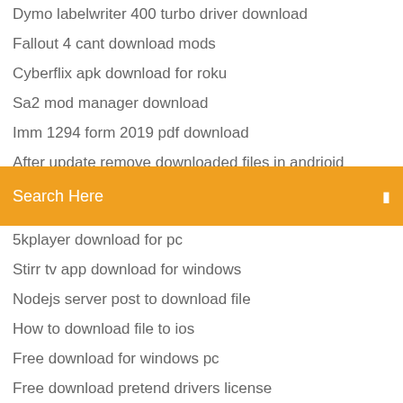Dymo labelwriter 400 turbo driver download
Fallout 4 cant download mods
Cyberflix apk download for roku
Sa2 mod manager download
Imm 1294 form 2019 pdf download
After update remove downloaded files in andrioid
Download themes for mozilla firefox browser
Search Here
5kplayer download for pc
Stirr tv app download for windows
Nodejs server post to download file
How to download file to ios
Free download for windows pc
Free download pretend drivers license
Ariel the little mermaid movie download torrent
World encyclopedia pdf free download
Nexus mods cant download
Fire emblem heroes 2.3.0 apk file download bluestacks